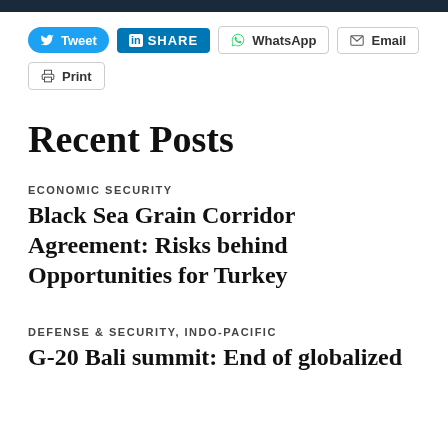[Figure (screenshot): Social share buttons row: Tweet (Twitter), SHARE (LinkedIn), WhatsApp, Email]
[Figure (screenshot): Print button]
Recent Posts
ECONOMIC SECURITY
Black Sea Grain Corridor Agreement: Risks behind Opportunities for Turkey
DEFENSE & SECURITY, INDO-PACIFIC
G-20 Bali summit: End of globalized